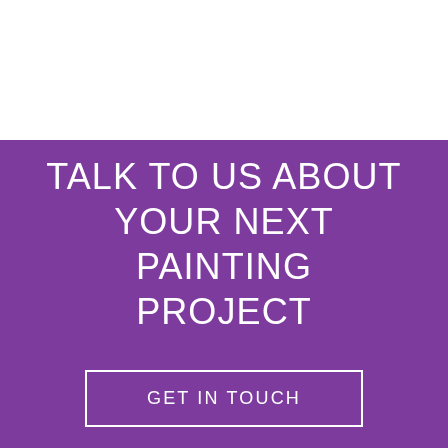TALK TO US ABOUT YOUR NEXT PAINTING PROJECT
GET IN TOUCH